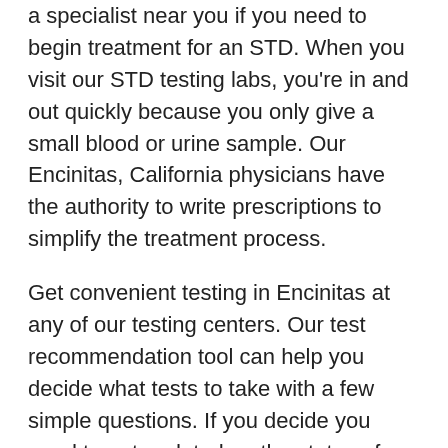a specialist near you if you need to begin treatment for an STD. When you visit our STD testing labs, you're in and out quickly because you only give a small blood or urine sample. Our Encinitas, California physicians have the authority to write prescriptions to simplify the treatment process.
Get convenient testing in Encinitas at any of our testing centers. Our test recommendation tool can help you decide what tests to take with a few simple questions. If you decide you need to get updated on the status of your test results, we have health specialists standing by to take your calls.
We are certain your reason for visiting our labs will remain unknown since we also conduct tests for other non-sexually transmitted disease related conditions. You can easily find a location in your area by entering your zip code on our website. Visit our